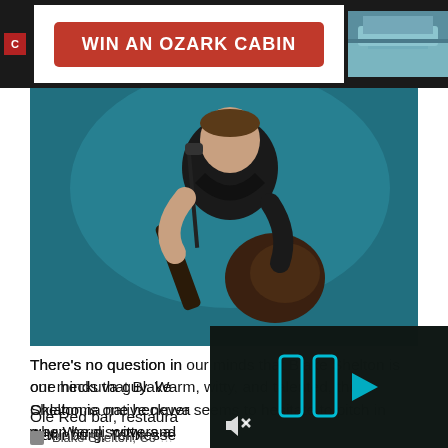[Figure (infographic): Advertisement banner: red button reading 'WIN AN OZARK CABIN' on white background, with a cabin photo on right, dark background]
[Figure (photo): Blake Shelton performing on stage, holding a guitar, blue/teal stage lighting background]
There's no question in our minds that Blake Shelton is one heckuva guy. Warm, witty, and talented, the Oklahoma native never seems to hesitate to pitch in when he discovers a need. From his Ole Red bar, restaurant, and venue in Gatlinburg, Tennessee, ... make a difference, ...
[Figure (screenshot): Video player overlay with dark background, two vertical white bars and a play triangle in teal/cyan, mute icon in bottom-left corner]
Blake Shelton, Co...